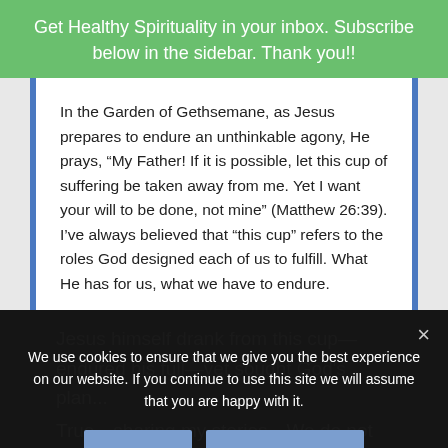Get Healthy Spirituality in your inbox. Subscribe below in the sidebar. Thank you!!
In the Garden of Gethsemane, as Jesus prepares to endure an unthinkable agony, He prays, “My Father! If it is possible, let this cup of suffering be taken away from me. Yet I want your will to be done, not mine” (Matthew 26:39). I’ve always believed that “this cup” refers to the roles God designed each of us to fulfill. What He has for us, what we have to endure.
We use cookies to ensure that we give you the best experience on our website. If you continue to use this site we will assume that you are happy with it.
Jesus himself drank from this cup—endured his full—yet sought God’s plan...
True—sharing my stories—We do not own. I believ...